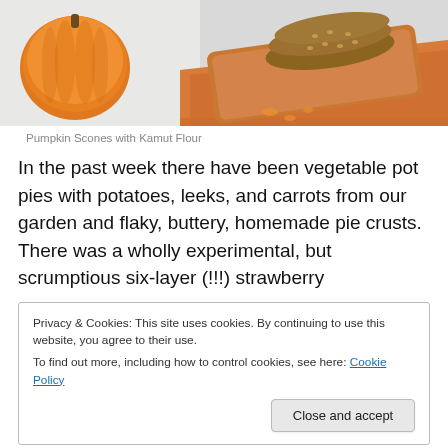[Figure (photo): Photo of pumpkin scones on an orange wooden board next to a pumpkin, on an orange cloth.]
Pumpkin Scones with Kamut Flour
In the past week there have been vegetable pot pies with potatoes, leeks, and carrots from our garden and flaky, buttery, homemade pie crusts. There was a wholly experimental, but scrumptious six-layer (!!!) strawberry
Privacy & Cookies: This site uses cookies. By continuing to use this website, you agree to their use.
To find out more, including how to control cookies, see here: Cookie Policy
[Close and accept]
lunch. There was even a (delicious, but poorly rising)